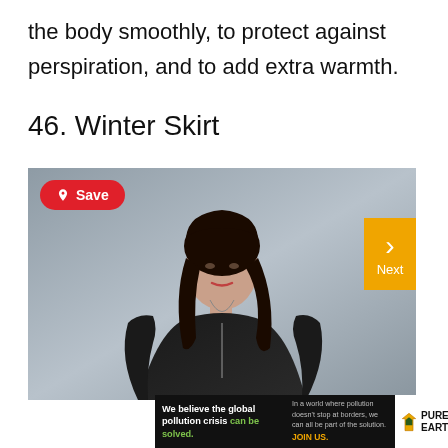the body smoothly, to protect against perspiration, and to add extra warmth.
46. Winter Skirt
[Figure (photo): Woman wearing a black turtleneck top with a long necklace, photographed against a gray background. A red Pinterest Save button overlays the top left, and an orange Next navigation button overlays the right side.]
We believe the global pollution crisis can be solved. In a world where pollution doesn't stop at borders, we can all be part of the solution. JOIN US. PURE EARTH